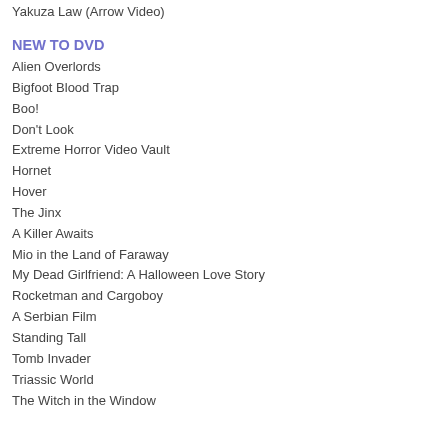Yakuza Law (Arrow Video)
NEW TO DVD
Alien Overlords
Bigfoot Blood Trap
Boo!
Don't Look
Extreme Horror Video Vault
Hornet
Hover
The Jinx
A Killer Awaits
Mio in the Land of Faraway
My Dead Girlfriend: A Halloween Love Story
Rocketman and Cargoboy
A Serbian Film
Standing Tall
Tomb Invader
Triassic World
The Witch in the Window